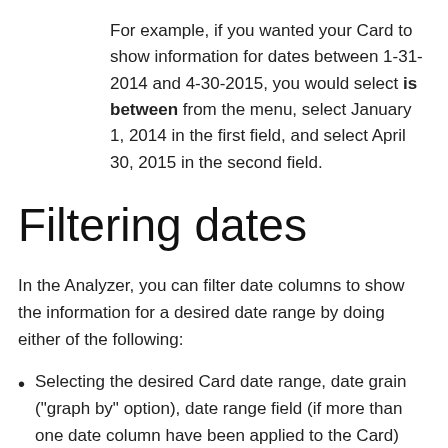For example, if you wanted your Card to show information for dates between 1-31-2014 and 4-30-2015, you would select is between from the menu, select January 1, 2014 in the first field, and select April 30, 2015 in the second field.
Filtering dates
In the Analyzer, you can filter date columns to show the information for a desired date range by doing either of the following:
Selecting the desired Card date range, date grain ("graph by" option), date range field (if more than one date column have been applied to the Card) and date filter in the date options menu that